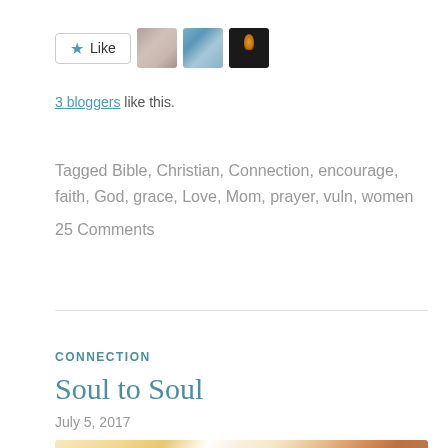[Figure (other): Like button with star icon and three blogger avatar photos]
3 bloggers like this.
Tagged Bible, Christian, Connection, encourage, faith, God, grace, Love, Mom, prayer, vuln, women
25 Comments
CONNECTION
Soul to Soul
July 5, 2017
[Figure (photo): Warm-toned photo of hands with sunlight rays, blurred bokeh background]